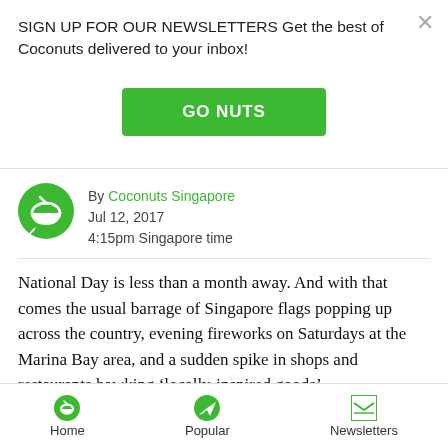SIGN UP FOR OUR NEWSLETTERS Get the best of Coconuts delivered to your inbox!
GO NUTS
By Coconuts Singapore
Jul 12, 2017
4:15pm Singapore time
National Day is less than a month away. And with that comes the usual barrage of Singapore flags popping up across the country, evening fireworks on Saturdays at the Marina Bay area, and a sudden spike in shops and restaurants hawking ‘locally-inspired goods’.
So no points for guessing why McDonald’s has just
Home   Popular   Newsletters